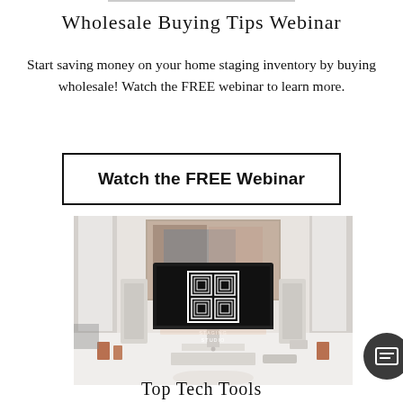Wholesale Buying Tips Webinar
Start saving money on your home staging inventory by buying wholesale! Watch the FREE webinar to learn more.
Watch the FREE Webinar
[Figure (photo): A white desk setup with a Mac monitor displaying the Staging Studio logo, flanked by white speakers, with art on the wall behind.]
Top Tech Tools